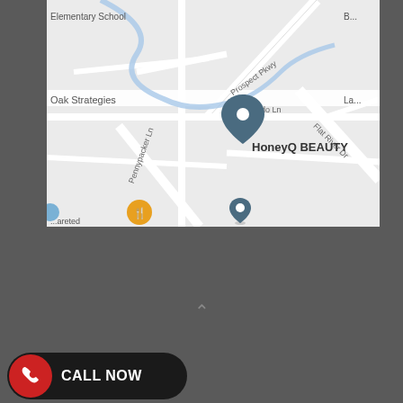[Figure (map): Google Maps view showing HoneyQ BEAUTY location with surrounding streets including Prospect Pkwy, Flat River Dr, Laredo Ln, Pennypacker Ln, and Oak Strategies. Map pin dropped at HoneyQ BEAUTY location. Orange restaurant marker and another blue marker visible.]
↑
2020 © Spotless Mobile Powerwash Website Developed by Ezee Webs Powered by Top Page Rankers.
CALL NOW